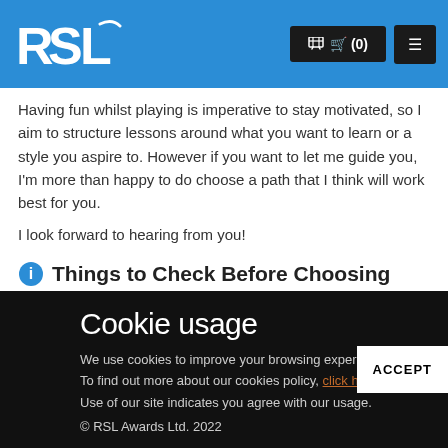RSL [logo] | (0) [cart] | [menu]
Having fun whilst playing is imperative to stay motivated, so I aim to structure lessons around what you want to learn or a style you aspire to. However if you want to let me guide you, I'm more than happy to do choose a path that I think will work best for you.
I look forward to hearing from you!
Things to Check Before Choosing
Cookie usage
We use cookies to improve your browsing experience. To find out more about our cookies policy, click here. Use of our site indicates you agree with our usage.
© RSL Awards Ltd. 2022